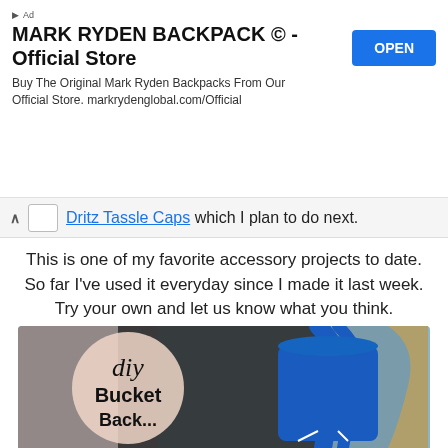[Figure (other): Advertisement banner for MARK RYDEN BACKPACK © - Official Store with an OPEN button]
Dritz Tassle Caps which I plan to do next.
This is one of my favorite accessory projects to date. So far I've used it everyday since I made it last week. Try your own and let us know what you think.
*In collaboration with Dritz. I received compensation from Dritz®, and some of the materials featured here or used in this project were provided free of charge by Dritz®. All opinions are my own.
[Figure (photo): Partial image of a DIY Bucket Backpack with text overlay on a pink circle, showing a blue leather bag and person wearing dark sweater]